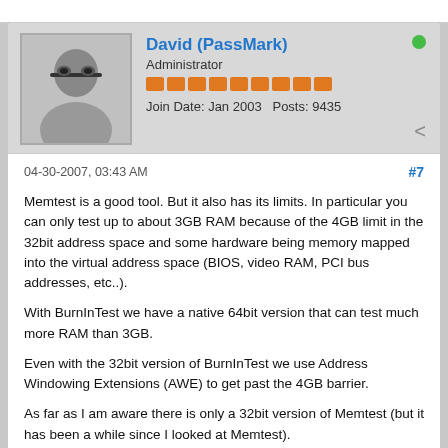David (PassMark)
Administrator
Join Date: Jan 2003   Posts: 9435
04-30-2007, 03:43 AM
#7
Memtest is a good tool. But it also has its limits. In particular you can only test up to about 3GB RAM because of the 4GB limit in the 32bit address space and some hardware being memory mapped into the virtual address space (BIOS, video RAM, PCI bus addresses, etc..).
With BurnInTest we have a native 64bit version that can test much more RAM than 3GB.
Even with the 32bit version of BurnInTest we use Address Windowing Extensions (AWE) to get past the 4GB barrier.
As far as I am aware there is only a 32bit version of Memtest (but it has been a while since I looked at Memtest).
kmruss
Junior Member